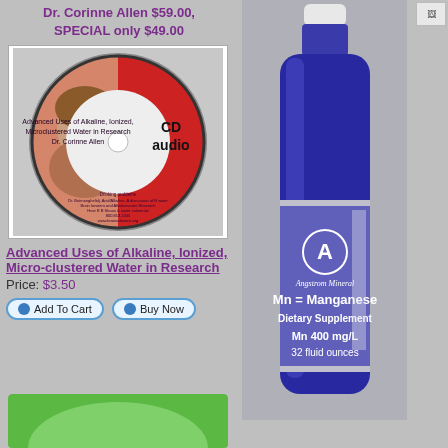Dr. Corinne Allen $59.00, SPECIAL only $49.00
[Figure (photo): CD audio disc with label: Advanced Uses of Alkaline, Ionized, Microclustered Water in Research, Dr. Corinne Allen, with photo of woman on left side]
Advanced Uses of Alkaline, Ionized, Micro-clustered Water in Research
Price: $3.50
[Figure (other): Add To Cart button]
[Figure (other): Buy Now button]
[Figure (photo): Blue bottle of Angstrom Mineral Mn = Manganese Dietary Supplement Mn 400 mg/L 32 fluid ounces]
[Figure (photo): Small broken image icon in top right]
[Figure (photo): Partial green circular image at bottom left]